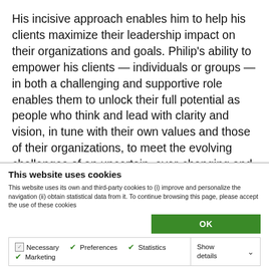His incisive approach enables him to help his clients maximize their leadership impact on their organizations and goals. Philip's ability to empower his clients — individuals or groups — in both a challenging and supportive role enables them to unlock their full potential as people who think and lead with clarity and vision, in tune with their own values and those of their organizations, to meet the evolving challenges of an uncertain, ever-changing and unpredictable world.
This website uses cookies
This website uses its own and third-party cookies to (i) improve and personalize the navigation (ii) obtain statistical data from it. To continue browsing this page, please accept the use of these cookies
OK
Necessary | Preferences | Statistics | Marketing | Show details